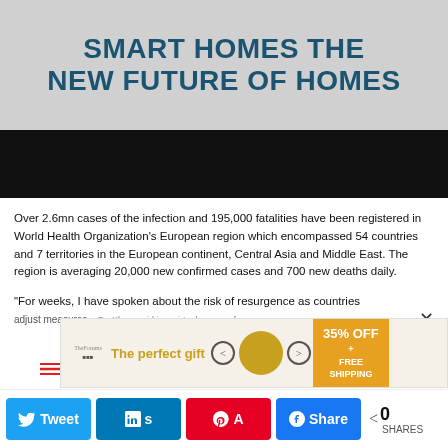SMART HOMES THE NEW FUTURE OF HOMES
[Figure (photo): Black banner/image bar below the title]
Over 2.6mn cases of the infection and 195,000 fatalities have been registered in World Health Organization's European region which encompassed 54 countries and 7 territories in the European continent, Central Asia and Middle East. The region is averaging 20,000 new confirmed cases and 700 new deaths daily.
“For weeks, I have spoken about the risk of resurgence as countries adjust measures,” Dr. Kluge said in a virtual new conference on
[Figure (infographic): Advertisement banner: The perfect gift, 35% OFF + FREE SHIPPING]
[Figure (infographic): Social sharing bar with Twitter, LinkedIn, Pinterest, Facebook buttons and 0 SHARES count]